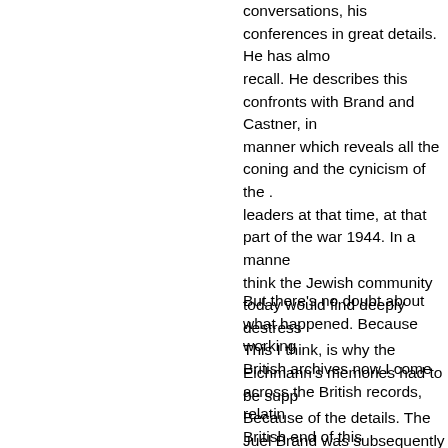conversations, his conferences in great details. He has almo recall. He describes this confronts with Brand and Castner, in manner which reveals all the coning and the cynicism of the leaders at that time, at that part of the war 1944. In a manne think the Jewish community today would find deeply destress. This I think, is why the Eichmann's memories had to be supp Because of the details. The Juel Brand was subsequently assassinated in Israel a year later.
But there's no doubt about what happened. Because working British archives now I come across the British records, relati British end of this negotiations. Eventually it became the fam Jews for tracks dial, if you remember, where Brand were sen negotiate with the British and Turkey and Palestine and Egyp the dial been that in return for thousands of Jews, the world community was to provide the Germans with trucks and mot equipment for fighting on the Russian front. Not on the weste of course. You have to be on the trucks used on the Russian And in return for that, then the SS guarantee to release a nu Jews. Eichmann was a partner, handing this dial in Hungary. Brand and Castner were handling the dial for the Zionists. It's fascinating story. Perhaps one day I write a book about it. Be now I got, in the British archives, all the records relating to th end of this deals, including all the undicepted letters. Who un by British post centre ship, between Brand and Castner and Jewish agency of Zionist leaders in Palestine. A fascinating, deeply ugly story. And people, well, it certain wouldn't bring m friends if I do.
In the introduction Eichmann writes that he is not a murdere